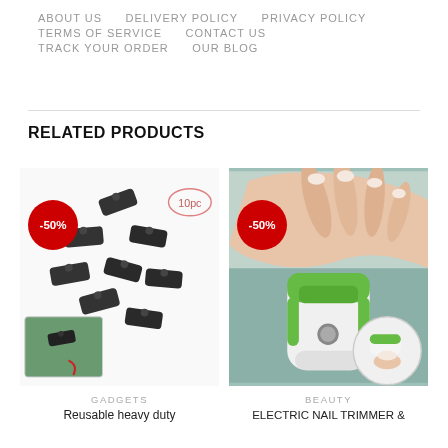ABOUT US   DELIVERY POLICY   PRIVACY POLICY   TERMS OF SERVICE   CONTACT US   TRACK YOUR ORDER   OUR BLOG
RELATED PRODUCTS
[Figure (photo): Product photo of 10 black reusable heavy duty clips on white background with -50% red badge and '10pc' label. Small inset shows clip in use on green fabric with red rope.]
GADGETS
Reusable heavy duty
[Figure (photo): Product photo of electric nail trimmer in green and white color, shown with hand manicure image above and inset circle showing device in use. -50% red badge visible.]
BEAUTY
ELECTRIC NAIL TRIMMER &